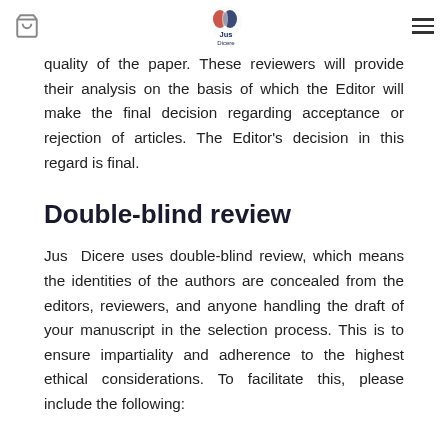[navigation bar with cart icon, Jus Dicere logo, and hamburger menu]
quality of the paper. These reviewers will provide their analysis on the basis of which the Editor will make the final decision regarding acceptance or rejection of articles. The Editor's decision in this regard is final.
Double-blind review
Jus Dicere uses double-blind review, which means the identities of the authors are concealed from the editors, reviewers, and anyone handling the draft of your manuscript in the selection process. This is to ensure impartiality and adherence to the highest ethical considerations. To facilitate this, please include the following: